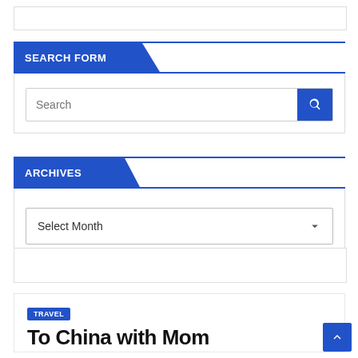SEARCH FORM
Search
ARCHIVES
Select Month
TRAVEL
To China with Mom